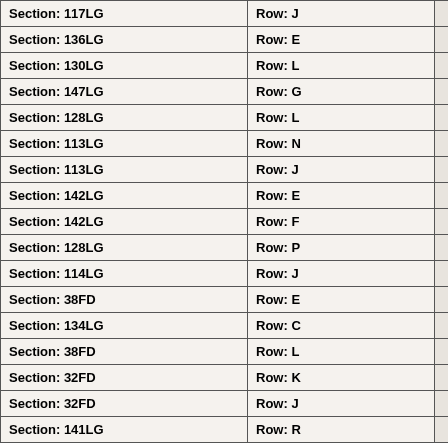| Section | Row |  |
| --- | --- | --- |
| Section: 117LG | Row: J |  |
| Section: 136LG | Row: E |  |
| Section: 130LG | Row: L |  |
| Section: 147LG | Row: G |  |
| Section: 128LG | Row: L |  |
| Section: 113LG | Row: N |  |
| Section: 113LG | Row: J |  |
| Section: 142LG | Row: E |  |
| Section: 142LG | Row: F |  |
| Section: 128LG | Row: P |  |
| Section: 114LG | Row: J |  |
| Section: 38FD | Row: E |  |
| Section: 134LG | Row: C |  |
| Section: 38FD | Row: L |  |
| Section: 32FD | Row: K |  |
| Section: 32FD | Row: J |  |
| Section: 141LG | Row: R |  |